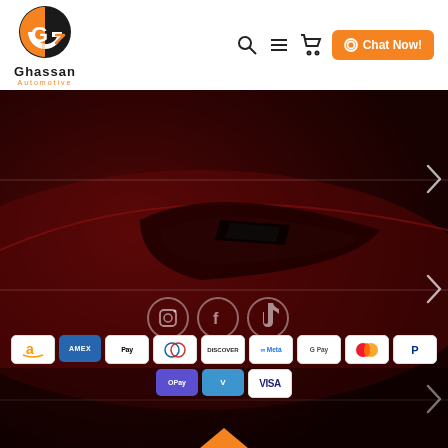[Figure (logo): Ghassan Automotive logo — circular G emblem in black and orange, with text 'Ghassan Automotive' below]
[Figure (screenshot): Navigation bar with search, hamburger menu, cart icons and orange 'Chat Now!' button]
[Figure (photo): Dark red automotive webpage background showing a red sports car front/headlight detail with dark overlay, chevron dropdown indicators on right side, social media icons (Instagram, Facebook, TikTok), and payment method badges (Amazon, Amex, Apple Pay, Diners, Discover, Meta, Google Pay, Mastercard, PayPal, OPay, Venmo, Visa)]